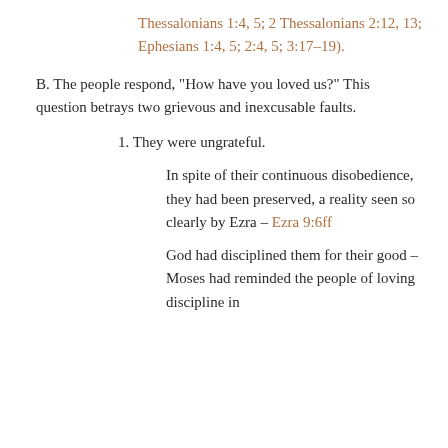Thessalonians 1:4, 5; 2 Thessalonians 2:12, 13; Ephesians 1:4, 5; 2:4, 5; 3:17-19).
B. The people respond, “How have you loved us?” This question betrays two grievous and inexcusable faults.
1. They were ungrateful.
In spite of their continuous disobedience, they had been preserved, a reality seen so clearly by Ezra – Ezra 9:6ff
God had disciplined them for their good – Moses had reminded the people of loving discipline in